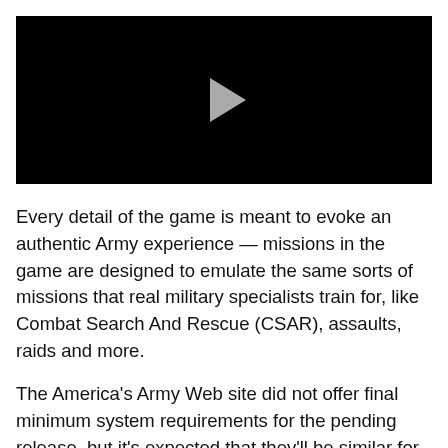[Figure (other): Black video player with a white/light gray play button triangle centered in the frame]
Every detail of the game is meant to evoke an authentic Army experience — missions in the game are designed to emulate the same sorts of missions that real military specialists train for, like Combat Search And Rescue (CSAR), assaults, raids and more.
The America's Army Web site did not offer final minimum system requirements for the pending release, but it's expected that they'll be similar for the previous release: Mac OS X v10.2.6 or higher;